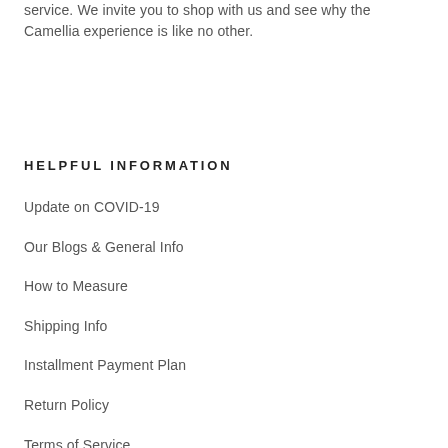service.  We invite you to shop with us and see why the Camellia experience is like no other.
HELPFUL INFORMATION
Update on COVID-19
Our Blogs & General Info
How to Measure
Shipping Info
Installment Payment Plan
Return Policy
Terms of Service
Privacy Policy